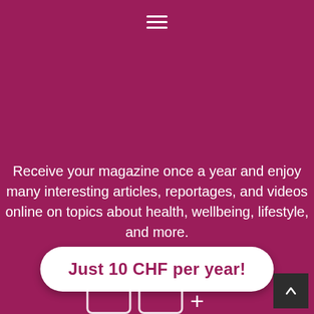[Figure (other): Hamburger menu icon (three horizontal white lines) centered near top of page on dark magenta background]
Receive your magazine once a year and enjoy many interesting articles, reportages, and videos online on topics about health, wellbeing, lifestyle, and more.
Just 10 CHF per year!
[Figure (other): Back to top arrow button (dark square with white upward chevron) in bottom right corner]
[Figure (other): Partial view of bottom icons with plus sign, partially cut off at bottom of page]